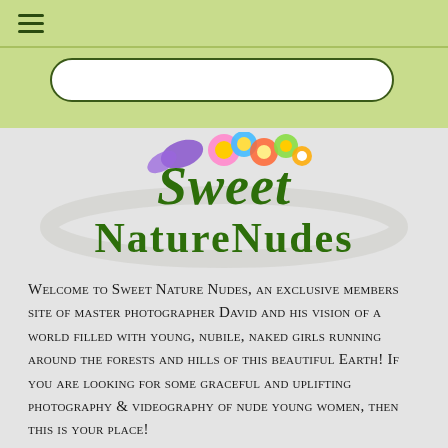[Figure (logo): Sweet Nature Nudes logo with colorful flowers and butterflies above large green decorative text]
Welcome to Sweet Nature Nudes, an exclusive members site of master photographer David and his vision of a world filled with young, nubile, naked girls running around the forests and hills of this beautiful Earth! If you are looking for some graceful and uplifting photography & videography of nude young women, then this is your place!